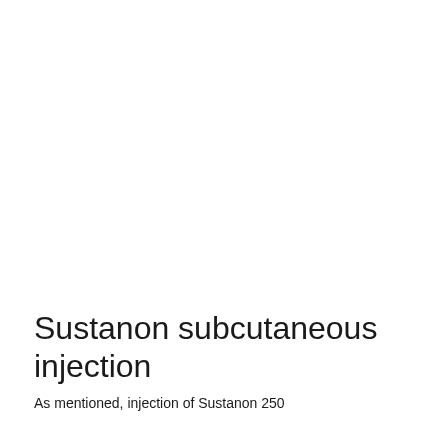Sustanon subcutaneous injection
As mentioned, injection of Sustanon 250